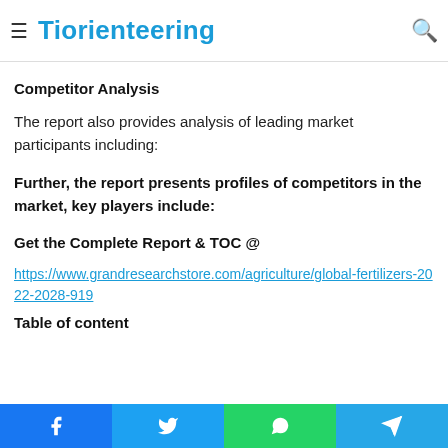Tiorienteering
2021, 2022-2028 ($ millions) & (% INT) Exhibit 1: Impact ... percentages, By Region and Country, 2021 (%)
Competitor Analysis
The report also provides analysis of leading market participants including:
Further, the report presents profiles of competitors in the market, key players include:
Get the Complete Report & TOC @
https://www.grandresearchstore.com/agriculture/global-fertilizers-2022-2028-919
Table of content